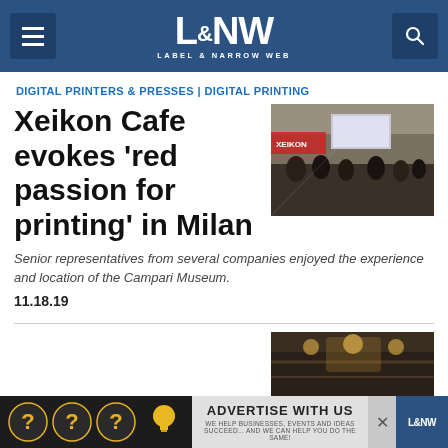L&NW LABEL & NARROW WEB
DIGITAL PRINTERS & PRESSES | DIGITAL PRINTING
[Figure (photo): Conference room with people seated at tables, presentation screen visible, Xeikon branding in background]
Xeikon Cafe evokes 'red passion for printing' in Milan
Senior representatives from several companies enjoyed the experience and location of the Campari Museum.
11.18.19
[Figure (photo): Interior ceiling/architecture photo, dark tones]
[Figure (photo): Advertisement banner: ADVERTISE WITH US - WE HELP BUSINESSES, EVENTS AND IDEAS SUCCEED... AND WE CAN HELP YOU DO THE SAME! LNW logo]